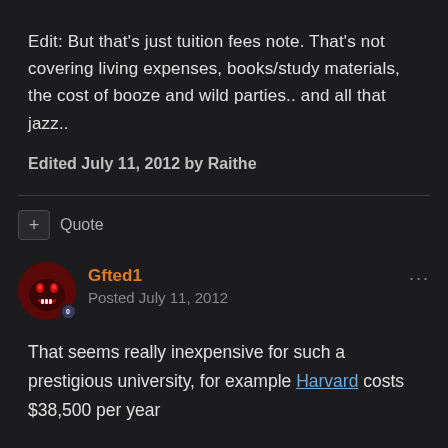Edit: But that's just tuition fees note. That's not covering living expenses, books/study materials, the cost of booze and wild parties.. and all that jazz..
Edited July 11, 2012 by Raithe
Quote
Gfted1
Posted July 11, 2012
That seems really inexpensive for such a prestigious university, for example Harvard costs $38,500 per year